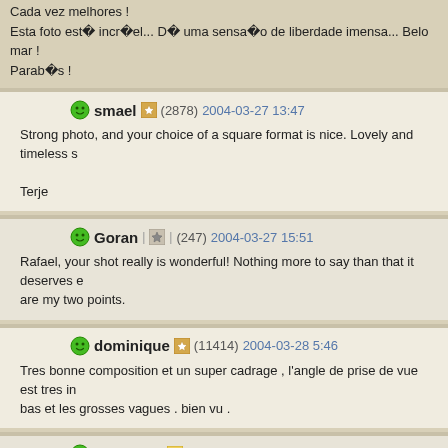Cada vez melhores !
Esta foto esté incríel... Dé uma sensaıo de liberdade imensa... Belo mar !
Parabıs !
smael (2878) 2004-03-27 13:47
Strong photo, and your choice of a square format is nice. Lovely and timeless s
Terje
Goran (247) 2004-03-27 15:51
Rafael, your shot really is wonderful! Nothing more to say than that it deserves e are my two points.
dominique (11414) 2004-03-28 5:46
Tres bonne composition et un super cadrage , l'angle de prise de vue est tres in bas et les grosses vagues . bien vu .
CoolDan (2516) 2004-04-04 16:57